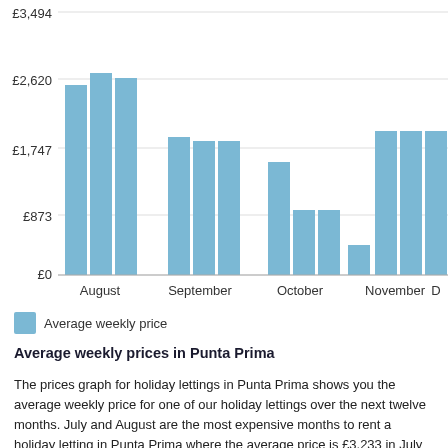[Figure (bar-chart): Average weekly prices in Punta Prima]
Average weekly price
Average weekly prices in Punta Prima
The prices graph for holiday lettings in Punta Prima shows you the average weekly price for one of our holiday lettings over the next twelve months. July and August are the most expensive months to rent a holiday letting in Punta Prima where the average price is £3,233 in July and £2,607 in August. The cheapest month to rent a holiday letting is in October where the average weekly price is